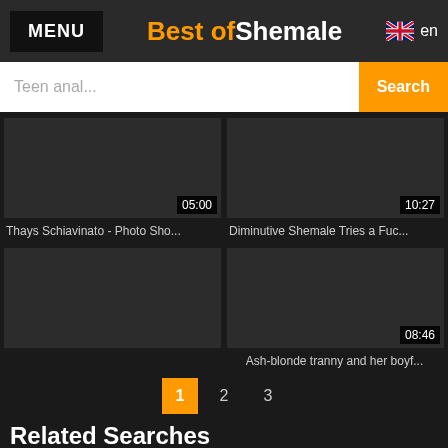MENU | Best of Shemale | en
Teen anal... Search
[Figure (screenshot): Video thumbnail placeholder dark grey, duration 05:00]
Thays Schiavinato - Photo Sho...
[Figure (screenshot): Video thumbnail placeholder dark grey, duration 10:27]
Diminutive Shemale Tries a Fuc...
[Figure (screenshot): Video thumbnail placeholder dark grey, duration 08:46]
Ash-blonde tranny and her boyf...
1 2 3
Related Searches